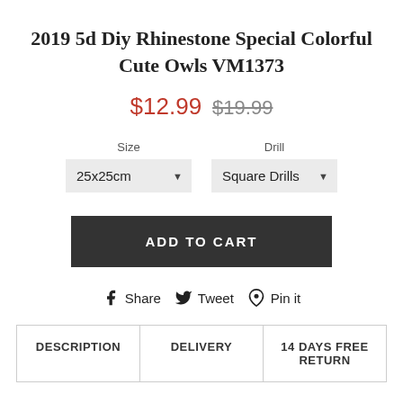2019 5d Diy Rhinestone Special Colorful Cute Owls VM1373
$12.99  $19.99
Size: 25x25cm  Drill: Square Drills
ADD TO CART
Share  Tweet  Pin it
DESCRIPTION  DELIVERY  14 DAYS FREE RETURN